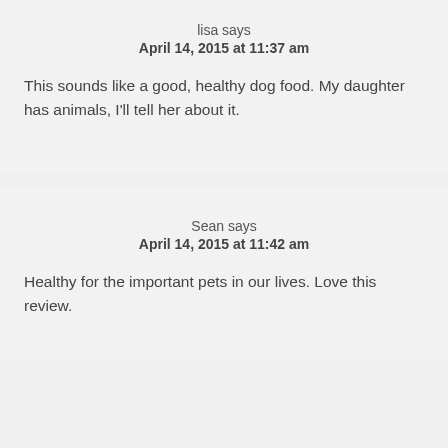lisa says
April 14, 2015 at 11:37 am
This sounds like a good, healthy dog food. My daughter has animals, I'll tell her about it.
Sean says
April 14, 2015 at 11:42 am
Healthy for the important pets in our lives. Love this review.